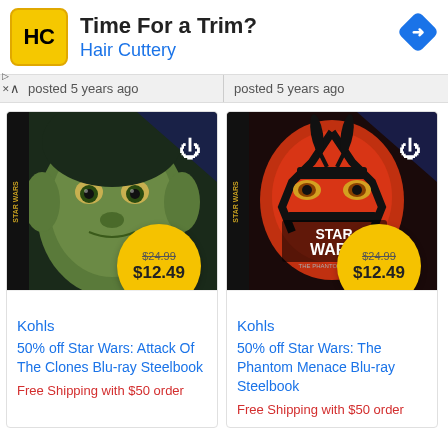[Figure (logo): Hair Cuttery advertisement banner with HC logo, 'Time For a Trim?' title, blue navigation direction icon on right]
posted 5 years ago
posted 5 years ago
[Figure (photo): Star Wars Yoda Blu-ray Steelbook product image with price badge showing $24.99 crossed out and $12.49]
Kohls
50% off Star Wars: Attack Of The Clones Blu-ray Steelbook
Free Shipping with $50 order
[Figure (photo): Star Wars Darth Maul Phantom Menace Blu-ray Steelbook product image with price badge showing $24.99 crossed out and $12.49]
Kohls
50% off Star Wars: The Phantom Menace Blu-ray Steelbook
Free Shipping with $50 order